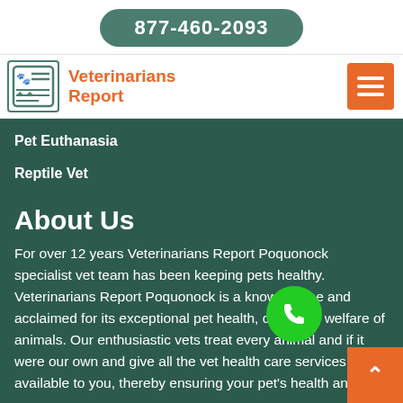877-460-2093
[Figure (logo): Veterinarians Report logo with animal and document icon]
Veterinarians Report
Pet Euthanasia
Reptile Vet
About Us
For over 12 years Veterinarians Report Poquonock specialist vet team has been keeping pets healthy. Veterinarians Report Poquonock is a known name and acclaimed for its exceptional pet health, care, and welfare of animals. Our enthusiastic vets treat every animal and if it were our own and give all the vet health care services available to you, thereby ensuring your pet's health and joy.